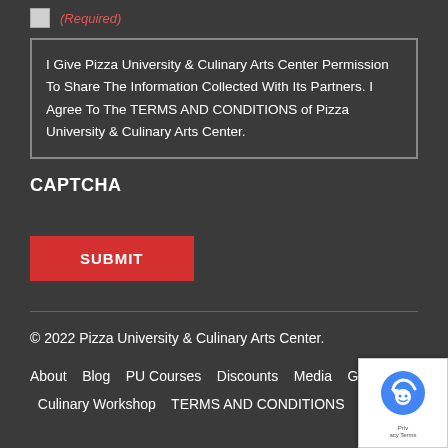(Required)
I Give Pizza University & Culinary Arts Center Permission To Share The Information Collected With Its Partners. I Agree To The TERMS AND CONDITIONS of Pizza University & Culinary Arts Center.
CAPTCHA
SUBMIT
© 2022 Pizza University & Culinary Arts Center.
About   Blog   PU Courses   Discounts   Media   Gallery   Culinary Workshop   TERMS AND CONDITIONS